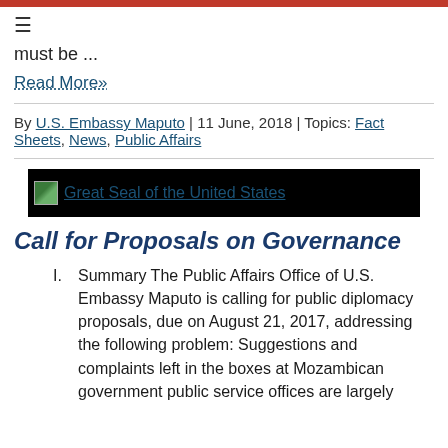≡
must be ...
Read More»
By U.S. Embassy Maputo | 11 June, 2018 | Topics: Fact Sheets, News, Public Affairs
[Figure (illustration): Black banner with small Great Seal of the United States image and text 'Great Seal of the United States']
Call for Proposals on Governance
I.    Summary The Public Affairs Office of U.S. Embassy Maputo is calling for public diplomacy proposals, due on August 21, 2017, addressing the following problem: Suggestions and complaints left in the boxes at Mozambican government public service offices are largely